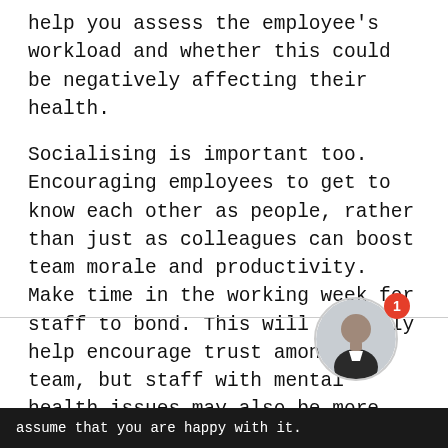help you assess the employee's workload and whether this could be negatively affecting their health.
Socialising is important too. Encouraging employees to get to know each other as people, rather than just as colleagues can boost team morale and productivity. Make time in the working week for staff to bond. This will not only help encourage trust among the team, but staff with mental health issues may also be more able to bring their whole selves to work if they feel like
[Figure (photo): Circular avatar photo of a young man with a red notification badge showing the number 1 in the top-right corner of the avatar]
assume that you are happy with it.